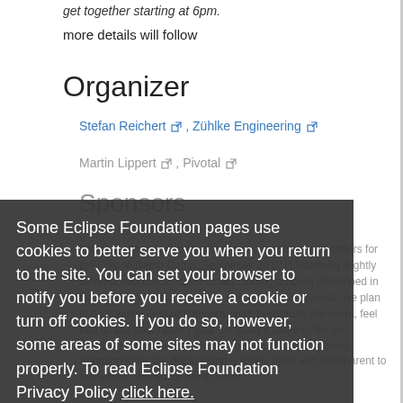more details will follow
Organizer
Stefan Reichert, Zühlke Engineering
Martin Lippert, Pivotal
Sponsors
You can add your company's name/logo to do the sponsors for the Eclipse Demo Camp, September 2012 in Hamburg slightly different and use an open-crowd-funding process (described in detail below). Due to the huge success of this process, we plan to do it again! or your company want to sponsor the event, feel free to add your name / your company's name to the list, including the amount of money you would like to sponsor.
Some Eclipse Foundation pages use cookies to better serve you when you return to the site. You can set your browser to notify you before you receive a cookie or turn off cookies. If you do so, however, some areas of some sites may not function properly. To read Eclipse Foundation Privacy Policy click here.
Decline
Allow cookies
Sponsoring for the demo camp is totally open and transparent to everybody. We would like to invite